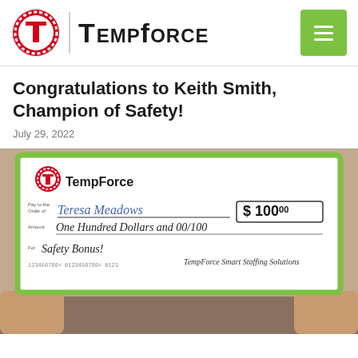[Figure (logo): TempForce logo with red circular T icon, vertical divider, TempForce brand name in bold black text, and green hamburger menu icon on right]
Congratulations to Keith Smith, Champion of Safety!
July 29, 2022
[Figure (photo): Person holding a large ceremonial check from TempForce made out to Teresa Meadows for $100.00, Amount: One Hundred Dollars and 00/100, For: Safety Bonus!, signed TempForce Smart Staffing Solutions]